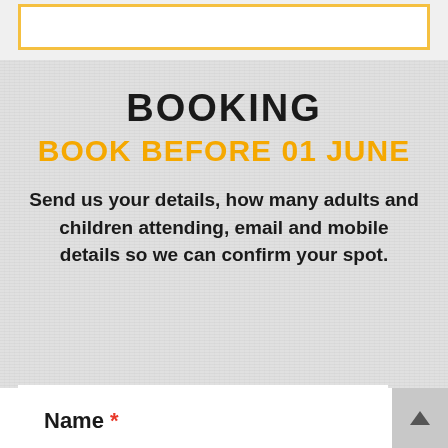BOOKING
BOOK BEFORE 01 JUNE
Send us your details, how many adults and children attending, email and mobile details so we can confirm your spot.
Name *